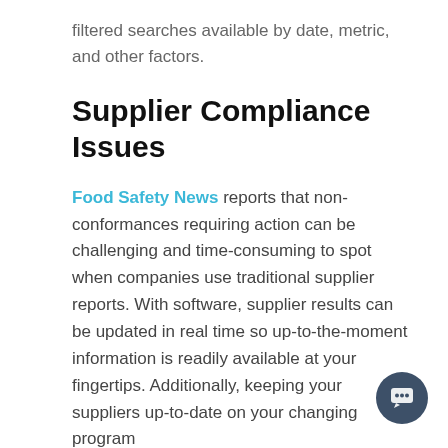filtered searches available by date, metric, and other factors.
Supplier Compliance Issues
Food Safety News reports that non-conformances requiring action can be challenging and time-consuming to spot when companies use traditional supplier reports. With software, supplier results can be updated in real time so up-to-the-moment information is readily available at your fingertips. Additionally, keeping your suppliers up-to-date on your changing program